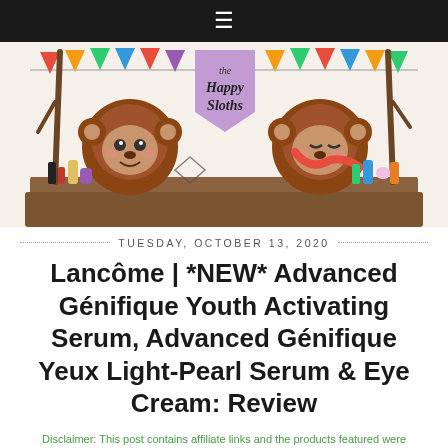☰
[Figure (illustration): The Happy Sloths blog banner illustration featuring two cartoon sloths with makeup and beauty products on a table, colorful bunting flags, and a purple pennant sign reading 'the Happy Sloths']
TUESDAY, OCTOBER 13, 2020
Lancôme | *NEW* Advanced Génifique Youth Activating Serum, Advanced Génifique Yeux Light-Pearl Serum & Eye Cream: Review
Disclaimer: This post contains affiliate links and the products featured were provided for review.
[Figure (photo): Partial product image at bottom of page, cut off]